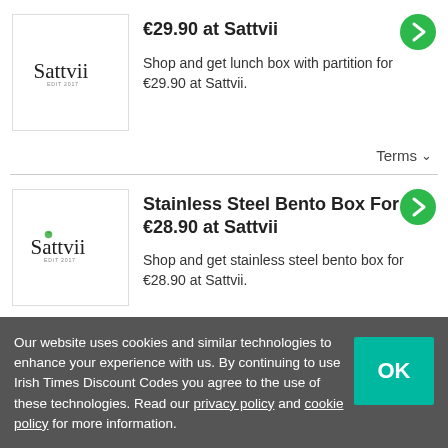[Figure (logo): Sattvii brand logo - cursive text with 'EDIT 2017' tagline]
€29.90 at Sattvii
Shop and get lunch box with partition for €29.90 at Sattvii.
Terms ∨
[Figure (logo): Sattvii brand logo with green leaf - cursive text with 'EDIT 2017' tagline]
Stainless Steel Bento Box For €28.90 at Sattvii
Shop and get stainless steel bento box for €28.90 at Sattvii.
Terms ∨
Our website uses cookies and similar technologies to enhance your experience with us. By continuing to use Irish Times Discount Codes you agree to the use of these technologies. Read our privacy policy and cookie policy for more information.